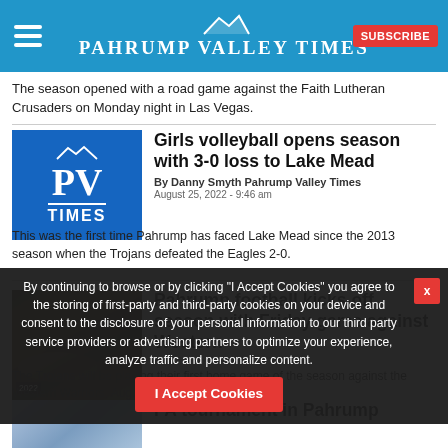Pahrump Valley Times
The season opened with a road game against the Faith Lutheran Crusaders on Monday night in Las Vegas.
[Figure (logo): PV Times logo — blue background with PV TIMES text]
Girls volleyball opens season with 3-0 loss to Lake Mead
By Danny Smyth Pahrump Valley Times
August 25, 2022 - 9:46 am
This was the first time Pahrump has faced Lake Mead since the 2013 season when the Trojans defeated the Eagles 2-0.
[Figure (photo): Football game photo at night stadium]
Pahrump football kicks off season with Friday game against Western
The Trojans will be playing their first home game of the season against the Western Warriors, Aug. 26.
[Figure (photo): Photo related to PA tournament article]
PA tournament in Pahrump
By continuing to browse or by clicking "I Accept Cookies" you agree to the storing of first-party and third-party cookies on your device and consent to the disclosure of your personal information to our third party service providers or advertising partners to optimize your experience, analyze traffic and personalize content.